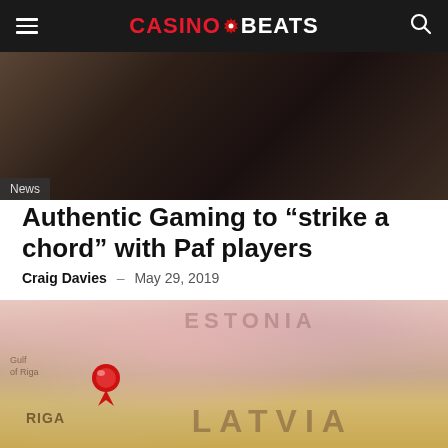CASINOBEATS
[Figure (photo): Dark background photo, possibly a person or dark interior scene]
News
Authentic Gaming to “strike a chord” with Paf players
Craig Davies – May 29, 2019
[Figure (map): Map showing Latvia and surrounding Baltic region with a red pin marker near Riga]